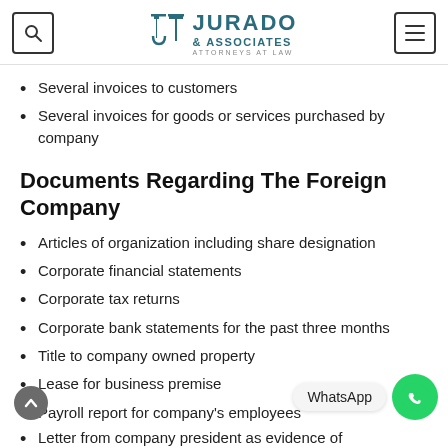Jurado & Associates — Attorneys at Law
Several invoices to customers
Several invoices for goods or services purchased by company
Documents Regarding The Foreign Company
Articles of organization including share designation
Corporate financial statements
Corporate tax returns
Corporate bank statements for the past three months
Title to company owned property
Lease for business premise
Payroll report for company's employees
Letter from company president as evidence of